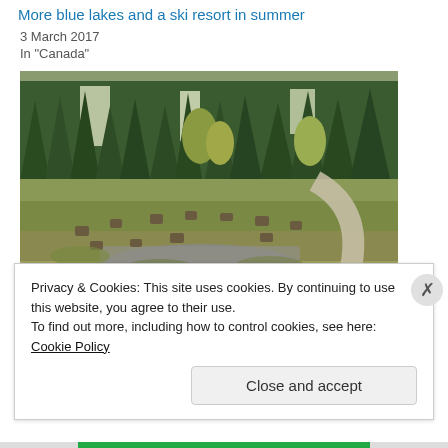More blue lakes and a ski resort in summer
3 March 2017
In "Canada"
[Figure (photo): Outdoor landscape photo showing a grassy clearing with tree stumps scattered around, low shrubby vegetation, stone ruins in the foreground, a winding gravel path on the right, and tall evergreen trees in the background.]
A day of ghost towns and yesteryear vibes
Privacy & Cookies: This site uses cookies. By continuing to use this website, you agree to their use. To find out more, including how to control cookies, see here: Cookie Policy